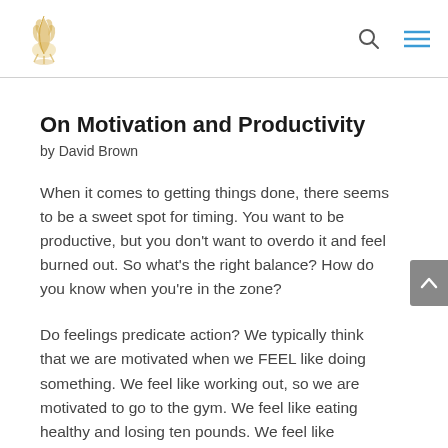[logo] [search icon] [menu icon]
On Motivation and Productivity
by David Brown
When it comes to getting things done, there seems to be a sweet spot for timing. You want to be productive, but you don't want to overdo it and feel burned out. So what's the right balance? How do you know when you're in the zone?
Do feelings predicate action? We typically think that we are motivated when we FEEL like doing something. We feel like working out, so we are motivated to go to the gym. We feel like eating healthy and losing ten pounds. We feel like